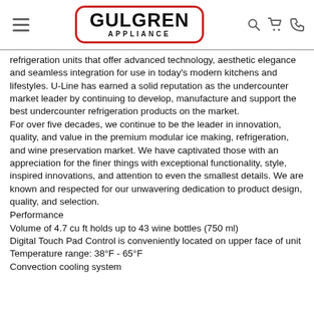GULGREN APPLIANCE
refrigeration units that offer advanced technology, aesthetic elegance and seamless integration for use in today's modern kitchens and lifestyles. U-Line has earned a solid reputation as the undercounter market leader by continuing to develop, manufacture and support the best undercounter refrigeration products on the market.
For over five decades, we continue to be the leader in innovation, quality, and value in the premium modular ice making, refrigeration, and wine preservation market. We have captivated those with an appreciation for the finer things with exceptional functionality, style, inspired innovations, and attention to even the smallest details. We are known and respected for our unwavering dedication to product design, quality, and selection.
Performance
Volume of 4.7 cu ft holds up to 43 wine bottles (750 ml)
Digital Touch Pad Control is conveniently located on upper face of unit
Temperature range: 38°F - 65°F
Convection cooling system